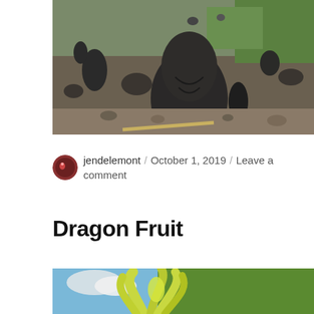[Figure (photo): Outdoor scene with dark stone or lava rock formations scattered on a rocky ground, with green vegetation in the background. Several rounded and elongated dark stones of various sizes are visible against a mossy, gravelly terrain.]
jendelemont / October 1, 2019 / Leave a comment
Dragon Fruit
[Figure (photo): Close-up photo of a dragon fruit flower or plant with yellow-green elongated petals/leaves against a blue sky with white clouds and green foliage in the background.]